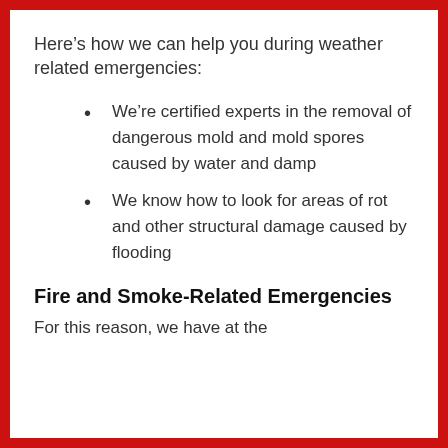Here’s how we can help you during weather related emergencies:
We’re certified experts in the removal of dangerous mold and mold spores caused by water and damp
We know how to look for areas of rot and other structural damage caused by flooding
Fire and Smoke-Related Emergencies
For this reason, we have at the...